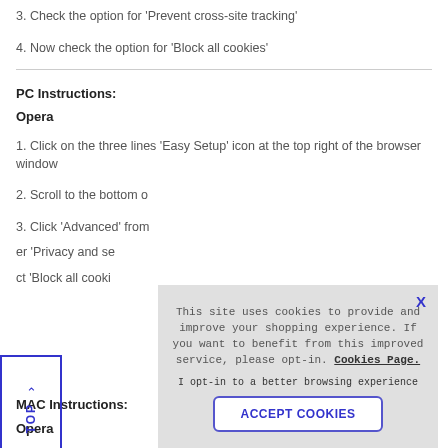3. Check the option for 'Prevent cross-site tracking'
4. Now check the option for 'Block all cookies'
PC Instructions:
Opera
1. Click on the three lines 'Easy Setup' icon at the top right of the browser window
2. Scroll to the bottom o
3. Click 'Advanced' from
er 'Privacy and se
ct 'Block all cooki
MAC Instructions:
Opera
[Figure (screenshot): Cookie consent popup overlay with text 'This site uses cookies to provide and improve your shopping experience. If you want to benefit from this improved service, please opt-in. Cookies Page.' and button 'ACCEPT COOKIES']